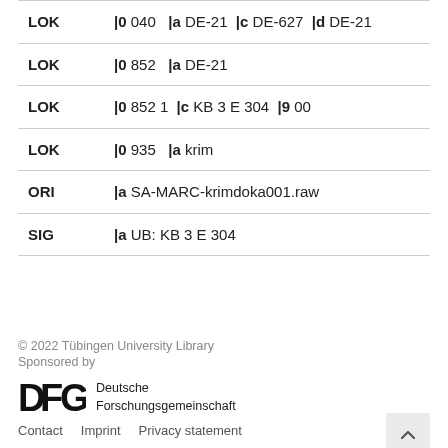| Field | Value |
| --- | --- |
| LOK | |0 040   |a DE-21  |c DE-627  |d DE-21 |
| LOK | |0 852   |a DE-21 |
| LOK | |0 852 1  |c KB 3 E 304  |9 00 |
| LOK | |0 935   |a krim |
| ORI | |a SA-MARC-krimdoka001.raw |
| SIG | |a UB: KB 3 E 304 |
© 2022 Tübingen University Library
Sponsored by
[Figure (logo): DFG Deutsche Forschungsgemeinschaft logo]
Contact   Imprint   Privacy statement